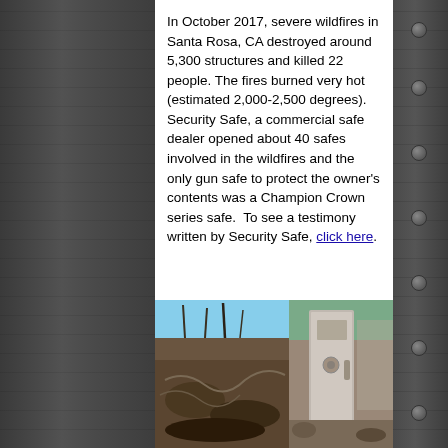In October 2017, severe wildfires in Santa Rosa, CA destroyed around 5,300 structures and killed 22 people. The fires burned very hot (estimated 2,000-2,500 degrees). Security Safe, a commercial safe dealer opened about 40 safes involved in the wildfires and the only gun safe to protect the owner's contents was a Champion Crown series safe.  To see a testimony written by Security Safe, click here.
[Figure (photo): Photo of wildfire destruction aftermath in Santa Rosa, CA showing burned debris, charred structures, and bare trees against a blue sky]
[Figure (photo): Photo of a Champion Crown series gun safe that survived the wildfire, showing the intact safe door amid rubble and burned surroundings]